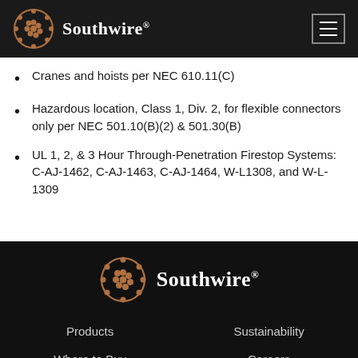Southwire®
Cranes and hoists per NEC 610.11(C)
Hazardous location, Class 1, Div. 2, for flexible connectors only per NEC 501.10(B)(2) & 501.30(B)
UL 1, 2, & 3 Hour Through-Penetration Firestop Systems: C-AJ-1462, C-AJ-1463, C-AJ-1464, W-L1308, and W-L-1309
Southwire® | Products | Where to Buy | Sustainability | Careers